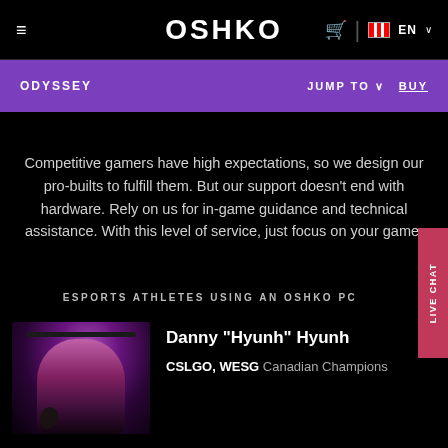OSHKO | EN
ODYSSEY | JUMP TO ∨  BUY
Competitive gamers have high expectations, so we design our pro-builts to fulfill them. But our support doesn't end with hardware. Rely on us for in-game guidance and technical assistance. With this level of service, just focus on your game.
ESPORTS ATHLETES USING AN OSHKO PC
[Figure (photo): Photo of Danny Hyunh wearing gaming headset under purple lighting]
Danny "Hyunh" Hyunh
CSLGO, WESG Canadian Champions